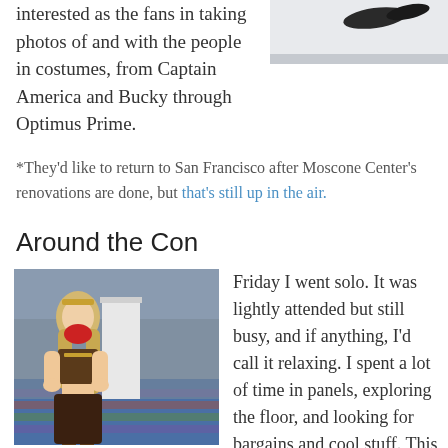interested as the fans in taking photos of and with the people in costumes, from Captain America and Bucky through Optimus Prime.
[Figure (photo): Partial photo at top right, appears to show feet/shoes on a light surface.]
*They'd like to return to San Francisco after Moscone Center's renovations are done, but that's still up in the air.
Around the Con
[Figure (photo): Photo of a young woman in a fantasy/medieval costume holding something red near her face, standing in a convention hall with colorful carpet.]
Friday I went solo. It was lightly attended but still busy, and if anything, I'd call it relaxing. I spent a lot of time in panels, exploring the floor, and looking for bargains and cool stuff. This was probably the most